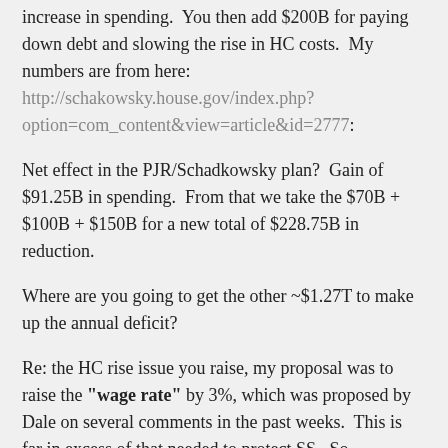increase in spending.  You then add $200B for paying down debt and slowing the rise in HC costs.  My numbers are from here: http://schakowsky.house.gov/index.php?option=com_content&view=article&id=2777:
Net effect in the PJR/Schadkowsky plan?  Gain of $91.25B in spending.  From that we take the $70B + $100B + $150B for a new total of $228.75B in reduction.
Where are you going to get the other ~$1.27T to make up the annual deficit?
Re: the HC rise issue you raise, my proposal was to raise the "wage rate" by 3%, which was proposed by Dale on several comments in the past weeks.  This is far in excess of that needed to protect SS.  So,